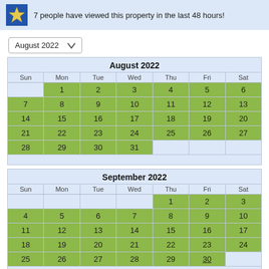7 people have viewed this property in the last 48 hours!
August 2022
| Sun | Mon | Tue | Wed | Thu | Fri | Sat |
| --- | --- | --- | --- | --- | --- | --- |
|  | 1 | 2 | 3 | 4 | 5 | 6 |
| 7 | 8 | 9 | 10 | 11 | 12 | 13 |
| 14 | 15 | 16 | 17 | 18 | 19 | 20 |
| 21 | 22 | 23 | 24 | 25 | 26 | 27 |
| 28 | 29 | 30 | 31 |  |  |  |
| Sun | Mon | Tue | Wed | Thu | Fri | Sat |
| --- | --- | --- | --- | --- | --- | --- |
|  |  |  |  | 1 | 2 | 3 |
| 4 | 5 | 6 | 7 | 8 | 9 | 10 |
| 11 | 12 | 13 | 14 | 15 | 16 | 17 |
| 18 | 19 | 20 | 21 | 22 | 23 | 24 |
| 25 | 26 | 27 | 28 | 29 | 30 |  |